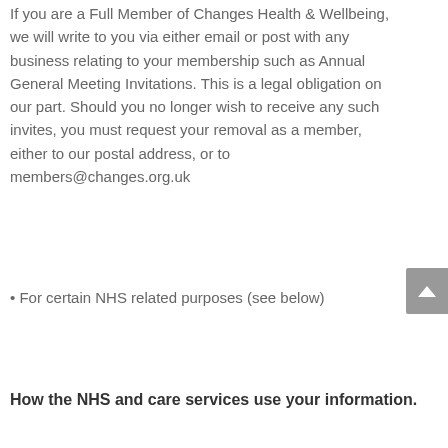If you are a Full Member of Changes Health & Wellbeing, we will write to you via either email or post with any business relating to your membership such as Annual General Meeting Invitations. This is a legal obligation on our part. Should you no longer wish to receive any such invites, you must request your removal as a member, either to our postal address, or to members@changes.org.uk
• For certain NHS related purposes (see below)
How the NHS and care services use your information.